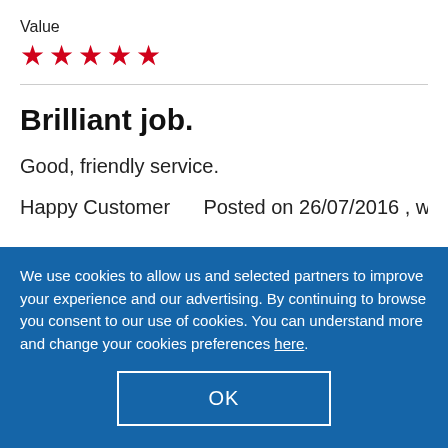Value
[Figure (other): 5 red star rating icons]
Brilliant job.
Good, friendly service.
Happy Customer    Posted on 26/07/2016 , work
We use cookies to allow us and selected partners to improve your experience and our advertising. By continuing to browse you consent to our use of cookies. You can understand more and change your cookies preferences here.
OK